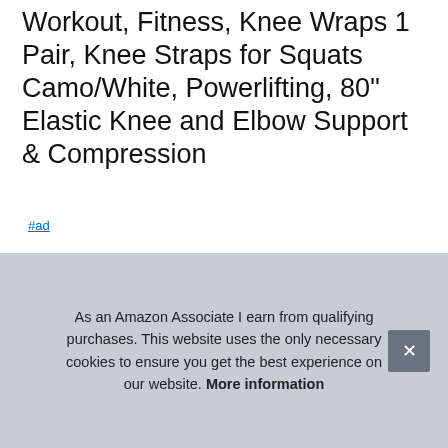Workout, Fitness, Knee Wraps 1 Pair, Knee Straps for Squats Camo/White, Powerlifting, 80" Elastic Knee and Elbow Support & Compression
#ad
[Figure (photo): Two product photos side by side showing knee wraps/straps being worn. Left image shows person wrapping knee with camo/dark pattern wrap. Right image shows close-up of IronBull branded knee support on leg.]
As an Amazon Associate I earn from qualifying purchases. This website uses the only necessary cookies to ensure you get the best experience on our website. More information